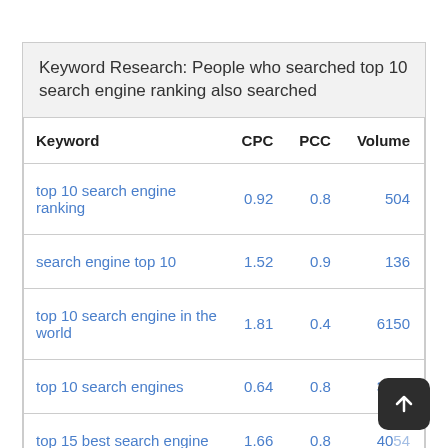Keyword Research: People who searched top 10 search engine ranking also searched
| Keyword | CPC | PCC | Volume |
| --- | --- | --- | --- |
| top 10 search engine ranking | 0.92 | 0.8 | 504 |
| search engine top 10 | 1.52 | 0.9 | 136 |
| top 10 search engine in the world | 1.81 | 0.4 | 6150 |
| top 10 search engines | 0.64 | 0.8 | 3345 |
| top 15 best search engine | 1.66 | 0.8 | 4054 |
| top 10 best search engines | 1.46 | 0.4 | 8… |